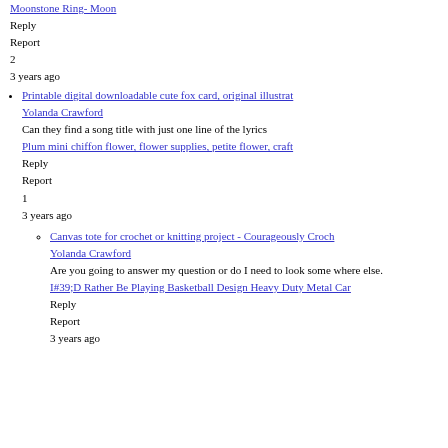Moonstone Ring- Moon
Reply
Report
2
3 years ago
Printable digital downloadable cute fox card, original illustrat
Yolanda Crawford
Can they find a song title with just one line of the lyrics
Plum mini chiffon flower, flower supplies, petite flower, craft
Reply
Report
1
3 years ago
Canvas tote for crochet or knitting project - Courageously Croch
Yolanda Crawford
Are you going to answer my question or do I need to look some where else.
I#39;D Rather Be Playing Basketball Design Heavy Duty Metal Car
Reply
Report
3 years ago